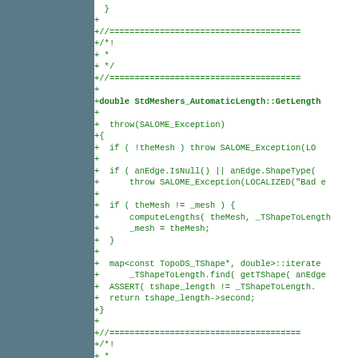[Figure (screenshot): Code diff view showing C++ source code with green '+' diff markers on white background, with a teal/slate left panel. The code shows a method implementation for StdMeshers_AutomaticLength::GetLength with exception handling and mesh computation.]